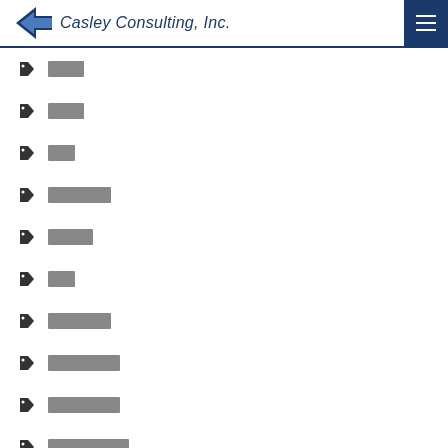Casley Consulting, Inc.
████
████
███
███████
█████
███
███████
████████
████████
█████████
████████
████
████